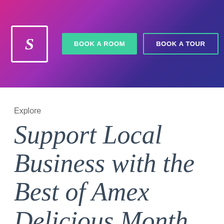[Figure (screenshot): Website header navigation bar with gradient background (pink to purple to dark blue). Contains a logo box with stylized 'S', two buttons labeled 'BOOK A ROOM' (green filled) and 'BOOK A TOUR' (green outlined), and a hamburger menu icon on the right.]
Explore
Support Local Business with the Best of Amex Delicious Month